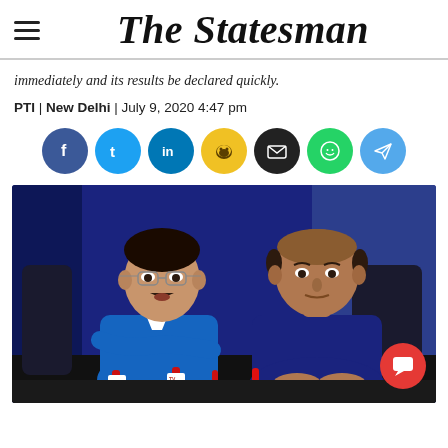The Statesman
immediately and its results be declared quickly.
PTI | New Delhi | July 9, 2020 4:47 pm
[Figure (infographic): Social media share buttons: Facebook, Twitter, LinkedIn, Koo, Email, WhatsApp, Telegram]
[Figure (photo): Two men in blue shirts sitting at a press conference table with microphones. The man on the left wears glasses and a blue sweater over a white shirt. The man on the right wears a dark blue shirt. There is a blue wall behind them.]